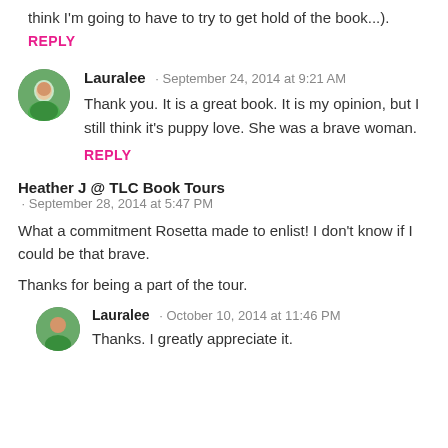think I'm going to have to try to get hold of the book...).
REPLY
Lauralee · September 24, 2014 at 9:21 AM
Thank you. It is a great book. It is my opinion, but I still think it's puppy love. She was a brave woman.
REPLY
Heather J @ TLC Book Tours · September 28, 2014 at 5:47 PM
What a commitment Rosetta made to enlist! I don't know if I could be that brave.
Thanks for being a part of the tour.
Lauralee · October 10, 2014 at 11:46 PM
Thanks. I greatly appreciate it.